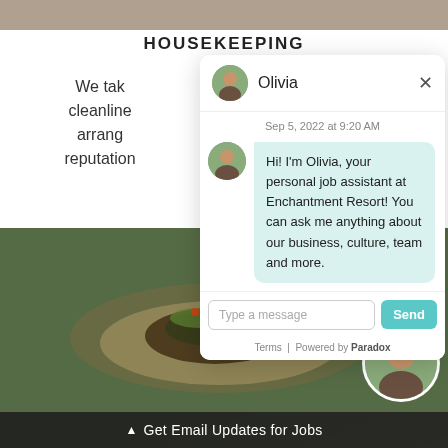[Figure (screenshot): Screenshot of a chat widget popup from Enchantment Resort featuring an AI assistant named Olivia. The chat shows a message dated Sep 5, 2022 at 9:20 AM where Olivia introduces herself as a personal job assistant. The page background shows a housekeeping section of a resort jobs website with a food photo at the bottom and a 'Get Email Updates for Jobs' bar.]
HOUSEKEEPING
We tak cleanline arrang reputation
Sep 5, 2022 at 9:20 AM
Hi! I'm Olivia, your personal job assistant at Enchantment Resort! You can ask me anything about our business, culture, team and more.
Type a message
Terms | Powered by Paradox
▲ Get Email Updates for Jobs